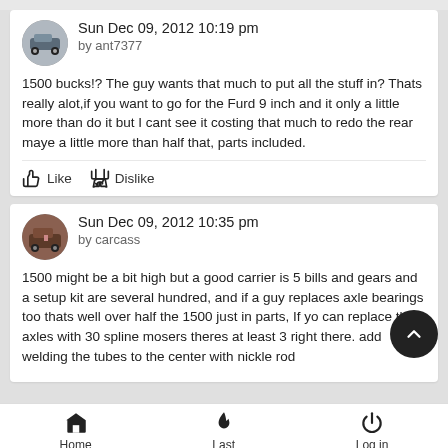Sun Dec 09, 2012 10:19 pm
by ant7377
1500 bucks!? The guy wants that much to put all the stuff in? Thats really alot,if you want to go for the Furd 9 inch and it only a little more than do it but I cant see it costing that much to redo the rear maye a little more than half that, parts included.
Like   Dislike
Sun Dec 09, 2012 10:35 pm
by carcass
1500 might be a bit high but a good carrier is 5 bills and gears and a setup kit are several hundred, and if a guy replaces axle bearings too thats well over half the 1500 just in parts, If yo can replace the axles with 30 spline mosers theres at least 3 right there. add welding the tubes to the center with nickle rod
Home   Last   Log in